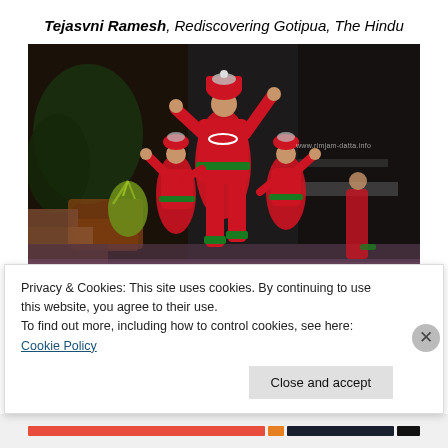Tejasvni Ramesh, Rediscovering Gotipua, The Hindu
[Figure (photo): Performers in vibrant red and green traditional Gotipua dance costumes on a stage, performing acrobatic dance poses. Background is dark with plants visible. Watermark reads www.rimjam-datta.info.]
Privacy & Cookies: This site uses cookies. By continuing to use this website, you agree to their use.
To find out more, including how to control cookies, see here: Cookie Policy